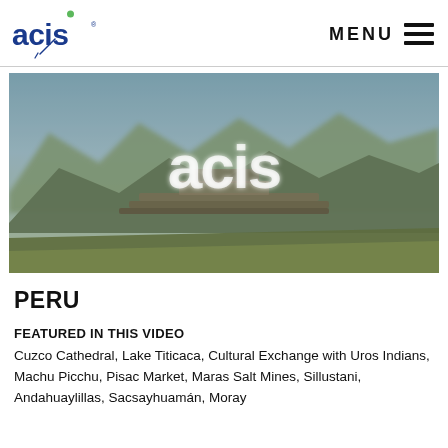ACIS logo and MENU navigation header
[Figure (photo): Hero image of Machu Picchu / Peruvian ruins landscape with mountains and blue sky, overlaid with white 'acis' logo watermark]
PERU
FEATURED IN THIS VIDEO
Cuzco Cathedral, Lake Titicaca, Cultural Exchange with Uros Indians, Machu Picchu, Pisac Market, Maras Salt Mines, Sillustani, Andahuaylillas, Sacsayhuamán, Moray